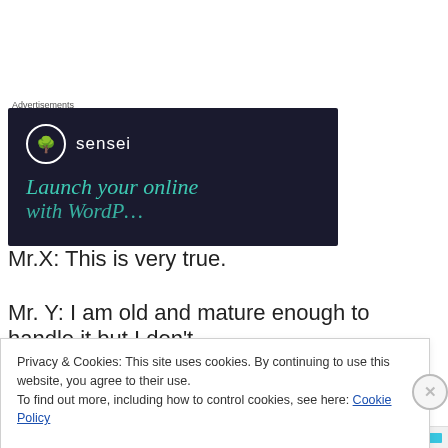[Figure (screenshot): Advertisement banner with dark navy background showing the Sensei logo (tree icon in a circle) and text 'Launch your online' in teal italic serif font, with partial text below cut off.]
Mr.X: This is very true.
Mr. Y: I am old and mature enough to handle it but I don't
Privacy & Cookies: This site uses cookies. By continuing to use this website, you agree to their use.
To find out more, including how to control cookies, see here: Cookie Policy
Close and accept